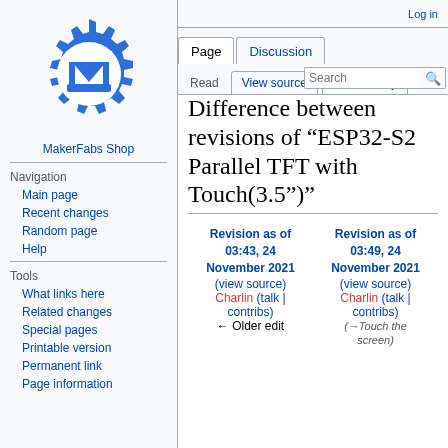Log in
[Figure (logo): MakerFabs logo: blue gear with M emblem]
MakerFabs Shop
Navigation
Main page
Recent changes
Random page
Help
Tools
What links here
Related changes
Special pages
Printable version
Permanent link
Page information
Difference between revisions of "ESP32-S2 Parallel TFT with Touch(3.5")"
| Revision as of 03:43, 24 November 2021 | Revision as of 03:49, 24 November 2021 |
| --- | --- |
| (view source) | (view source) |
| Charlin (talk | contribs) | Charlin (talk | contribs) |
| ← Older edit | (→Touch the screen) |